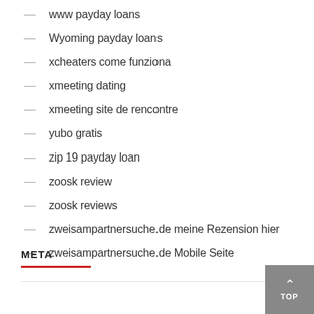— www payday loans
— Wyoming payday loans
— xcheaters come funziona
— xmeeting dating
— xmeeting site de rencontre
— yubo gratis
— zip 19 payday loan
— zoosk review
— zoosk reviews
— zweisampartnersuche.de meine Rezension hier
— zweisampartnersuche.de Mobile Seite
META